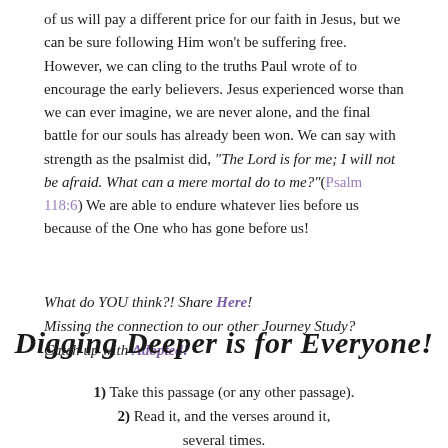of us will pay a different price for our faith in Jesus, but we can be sure following Him won't be suffering free. However, we can cling to the truths Paul wrote of to encourage the early believers. Jesus experienced worse than we can ever imagine, we are never alone, and the final battle for our souls has already been won. We can say with strength as the psalmist did, "The Lord is for me; I will not be afraid. What can a mere mortal do to me?" (Psalm 118:6) We are able to endure whatever lies before us because of the One who has gone before us!
What do YOU think?! Share Here! Missing the connection to our other Journey Study? Catch up with Adopted!
Digging Deeper is for Everyone!
1) Take this passage (or any other passage).
2) Read it, and the verses around it, several times.